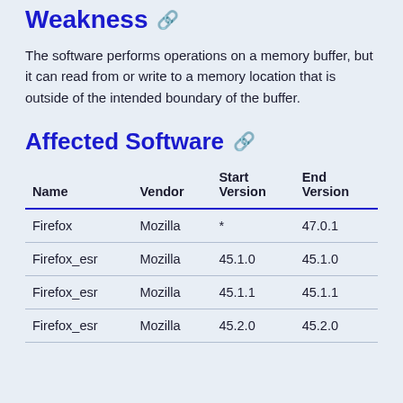Weakness
The software performs operations on a memory buffer, but it can read from or write to a memory location that is outside of the intended boundary of the buffer.
Affected Software
| Name | Vendor | Start Version | End Version |
| --- | --- | --- | --- |
| Firefox | Mozilla | * | 47.0.1 |
| Firefox_esr | Mozilla | 45.1.0 | 45.1.0 |
| Firefox_esr | Mozilla | 45.1.1 | 45.1.1 |
| Firefox_esr | Mozilla | 45.2.0 | 45.2.0 |